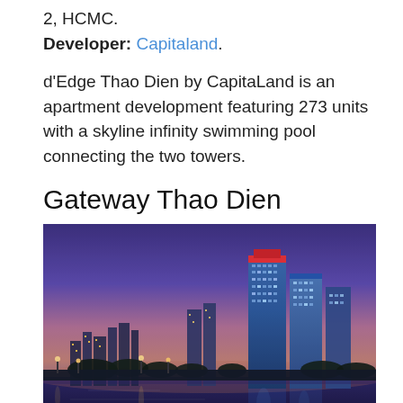2, HCMC.
Developer: Capitaland.
d'Edge Thao Dien by CapitaLand is an apartment development featuring 273 units with a skyline infinity swimming pool connecting the two towers.
Gateway Thao Dien
[Figure (photo): Nighttime skyline photo of Gateway Thao Dien towers reflected in a river, with purple and pink sky at dusk, city lights visible along the waterfront.]